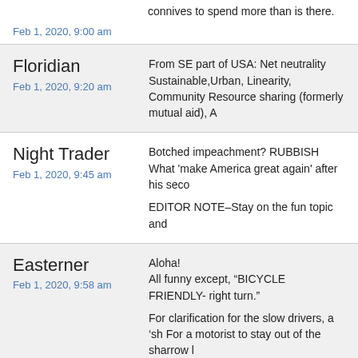connives to spend more than is there.
Feb 1, 2020, 9:00 am
Floridian
Feb 1, 2020, 9:20 am
From SE part of USA: Net neutrality Sustainable,Urban, Linearity, Community Resource sharing (formerly mutual aid), A
Night Trader
Feb 1, 2020, 9:45 am
Botched impeachment? RUBBISH What 'make America great again' after his seco
EDITOR NOTE–Stay on the fun topic and
Easterner
Feb 1, 2020, 9:58 am
Aloha! All funny except, "BICYCLE FRIENDLY- right turn."
For clarification for the slow drivers, a 'sh For a motorist to stay out of the sharrow l
Different than "a motorist who stays out was intended for the post, since that that
To safely turn right over a bike lane, a m clear lane and turns right while still in th motorist uses the DOTTED line portion t lane into the turn lane.